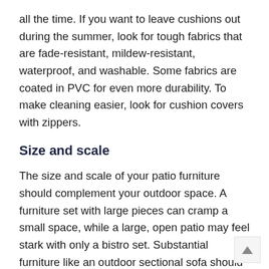all the time. If you want to leave cushions out during the summer, look for tough fabrics that are fade-resistant, mildew-resistant, waterproof, and washable. Some fabrics are coated in PVC for even more durability. To make cleaning easier, look for cushion covers with zippers.
Size and scale
The size and scale of your patio furniture should complement your outdoor space. A furniture set with large pieces can cramp a small space, while a large, open patio may feel stark with only a bistro set. Substantial furniture like an outdoor sectional sofa should be reserved for large areas. Small furniture should fit in the space yet still leave room to move around.